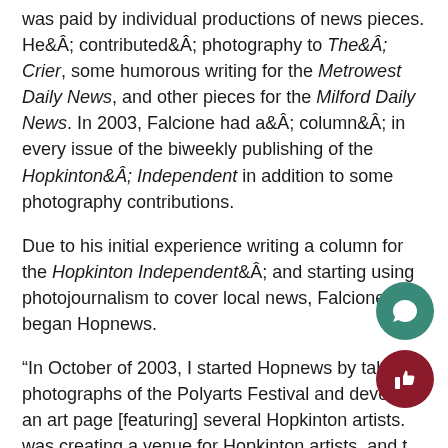Falcione started his career as a stringer, meaning he was paid by individual productions of news pieces. He contributed photography to The Crier, some humorous writing for the Metrowest Daily News, and other pieces for the Milford Daily News. In 2003, Falcione had a column in every issue of the biweekly publishing of the Hopkinton Independent in addition to some photography contributions.
Due to his initial experience writing a column for the Hopkinton Independent and starting using photojournalism to cover local news, Falcione began Hopnews.
“In October of 2003, I started Hopnews by taking photographs of the Polyarts Festival and developing an art page [featuring] several Hopkinton artists. I was creating a venue for Hopkinton artists, and that my main goal was to share my photography,”